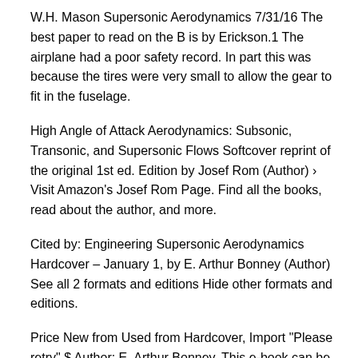W.H. Mason Supersonic Aerodynamics 7/31/16 The best paper to read on the B is by Erickson.1 The airplane had a poor safety record. In part this was because the tires were very small to allow the gear to fit in the fuselage.
High Angle of Attack Aerodynamics: Subsonic, Transonic, and Supersonic Flows Softcover reprint of the original 1st ed. Edition by Josef Rom (Author) › Visit Amazon's Josef Rom Page. Find all the books, read about the author, and more.
Cited by: Engineering Supersonic Aerodynamics Hardcover – January 1, by E. Arthur Bonney (Author) See all 2 formats and editions Hide other formats and editions.
Price New from Used from Hardcover, Import "Please retry" $ Author: E. Arthur Bonney. This e-book can be downloaded free of charge. The field of aerodynamics studies the motion of air around an object, such as an aircraft. After introducing fundamental concepts such as fluid flow, Thin Airfoil Theory, and Finite Wing Theory, A First Course on Aerodynamics presents the fundamentals of three key topics: Inviscid